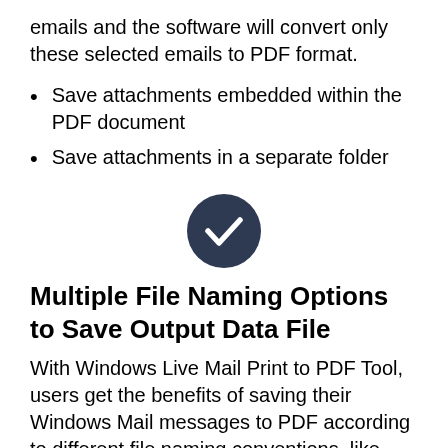emails and the software will convert only these selected emails to PDF format.
Save attachments embedded within the PDF document
Save attachments in a separate folder
[Figure (illustration): Dark navy circle with a white checkmark icon in the center]
Multiple File Naming Options to Save Output Data File
With Windows Live Mail Print to PDF Tool, users get the benefits of saving their Windows Mail messages to PDF according to different file naming conventions, like Subject, Subject + Date (DD MM YYYY), From + Subject + Date